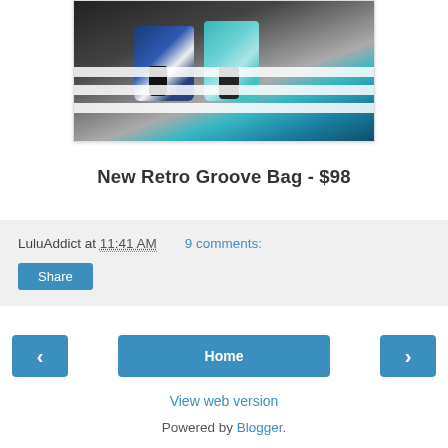[Figure (photo): Photo of two people crossing a crosswalk carrying bags — a dark navy/white bag and a teal bag, with black boots visible and white crosswalk stripes on dark pavement.]
New Retro Groove Bag - $98
LuluAddict at 11:41 AM   9 comments:
Share
‹    Home    ›
View web version
Powered by Blogger.